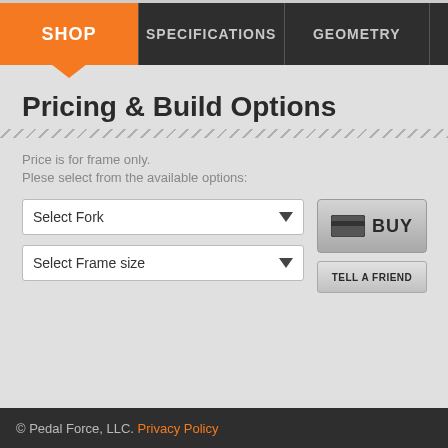SHOP | SPECIFICATIONS | GEOMETRY
Pricing & Build Options
Price is for frame only.
Plese select from the available options:
© Pedal Force, LLC. Privacy Policy